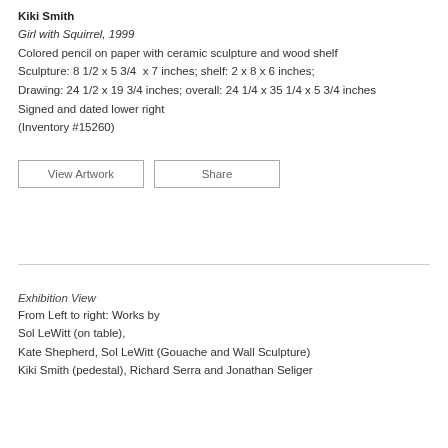Kiki Smith
Girl with Squirrel, 1999
Colored pencil on paper with ceramic sculpture and wood shelf
Sculpture: 8 1/2 x 5 3/4  x 7 inches; shelf: 2 x 8 x 6 inches;
Drawing: 24 1/2 x 19 3/4 inches; overall: 24 1/4 x 35 1/4 x 5 3/4 inches
Signed and dated lower right
(Inventory #15260)
View Artwork   Share
Exhibition View
From Left to right: Works by
Sol LeWitt (on table),
Kate Shepherd, Sol LeWitt (Gouache and Wall Sculpture)
Kiki Smith (pedestal), Richard Serra and Jonathan Seliger